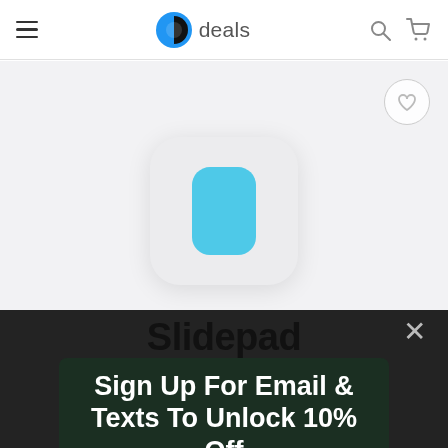deals (navigation bar with hamburger menu, logo, search and cart icons)
[Figure (screenshot): Product page showing a light blue rounded rectangle app icon (Slidepad) on a light gray background, with a heart/favorite button in the top right corner]
Slidepad
Sign Up For Email & Texts To Unlock 10% Off